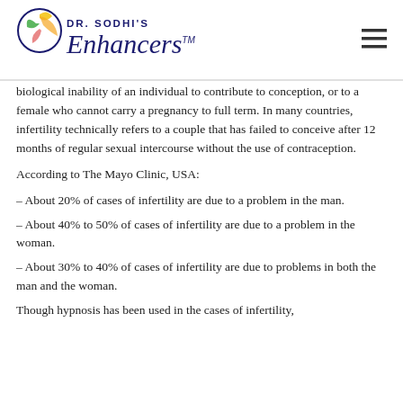Dr. Sodhi's Enhancers™
biological inability of an individual to contribute to conception, or to a female who cannot carry a pregnancy to full term. In many countries, infertility technically refers to a couple that has failed to conceive after 12 months of regular sexual intercourse without the use of contraception.
According to The Mayo Clinic, USA:
– About 20% of cases of infertility are due to a problem in the man.
– About 40% to 50% of cases of infertility are due to a problem in the woman.
– About 30% to 40% of cases of infertility are due to problems in both the man and the woman.
Though hypnosis has been used in the cases of infertility,